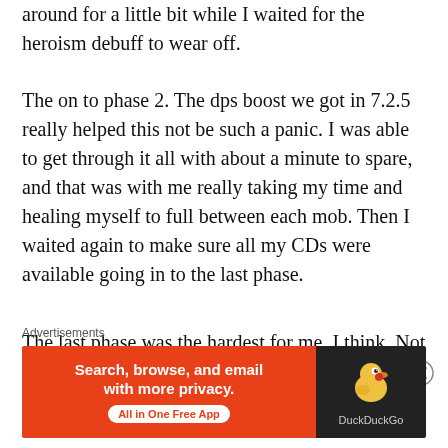around for a little bit while I waited for the heroism debuff to wear off.
The on to phase 2. The dps boost we got in 7.2.5 really helped this not be such a panic. I was able to get through it all with about a minute to spare, and that was with me really taking my time and healing myself to full between each mob. Then I waited again to make sure all my CDs were available going in to the last phase.
The last phase was the hardest for me, I think. Not the boss, but the bit before that, where the boss is drawing in mobs from around the edges
Advertisements
[Figure (other): DuckDuckGo advertisement banner. Orange left panel with text 'Search, browse, and email with more privacy.' and 'All in One Free App' badge button. Dark right panel with DuckDuckGo duck logo and 'DuckDuckGo' text.]